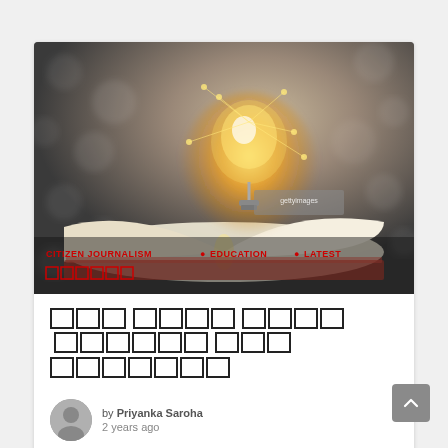[Figure (photo): Open book with a glowing light bulb floating above it, dark bokeh background. Overlay text shows category tags: CITIZEN JOURNALISM, EDUCATION, LATEST in red, and Hindi script tags below.]
[Hindi script article title - blocked/unrenderable characters]
by Priyanka Saroha
2 years ago